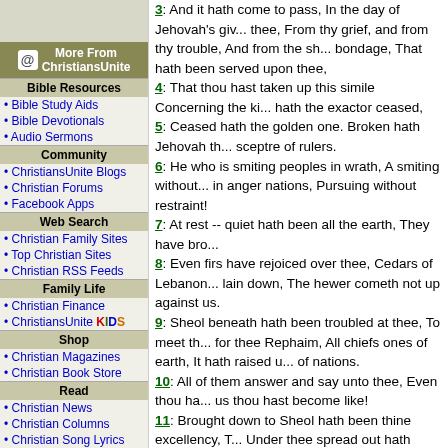More From ChristiansUnite
Bible Resources
• Bible Study Aids
• Bible Devotionals
• Audio Sermons
Community
• ChristiansUnite Blogs
• Christian Forums
• Facebook Apps
Web Search
• Christian Family Sites
• Top Christian Sites
• Christian RSS Feeds
Family Life
• Christian Finance
• ChristiansUnite KIDS
Shop
• Christian Magazines
• Christian Book Store
Read
• Christian News
• Christian Columns
• Christian Song Lyrics
3: And it hath come to pass, In the day of Jehovah's giving rest to thee, From thy grief, and from thy trouble, And from the sh... bondage, That hath been served upon thee,
4: That thou hast taken up this simile Concerning the ki... hath the exactor ceased,
5: Ceased hath the golden one. Broken hath Jehovah th... sceptre of rulers.
6: He who is smiting peoples in wrath, A smiting without... in anger nations, Pursuing without restraint!
7: At rest -- quiet hath been all the earth, They have bro...
8: Even firs have rejoiced over thee, Cedars of Lebanon... lain down, The hewer cometh not up against us.
9: Sheol beneath hath been troubled at thee, To meet th... for thee Rephaim, All chiefs ones of earth, It hath raised u... of nations.
10: All of them answer and say unto thee, Even thou ha... us thou hast become like!
11: Brought down to Sheol hath been thine excellency, T... Under thee spread out hath been the worm, Yea, covering...
12: How hast thou fallen from the heavens, O shining o... been cut down to earth, O weakener of nations.
13: And thou saidst in thy heart: the heavens I go up, Ab... throne, And I sit in the mount of meeting in the sides of th...
14: I go up above the heights of a thick cloud, I am like t...
15: Only -- unto Sheol thou art brought down, Unto the s...
16: Thy beholders look to thee, to thee they attend, Is th... to tremble, Shaking kingdoms?
17: He hath made the world as a wilderness, And his citi... his bound ones he opened not the house.
18: All kings of nations -- all of them, Have lain down in h...
19: And -- thou hast been cast out of thy grave, As an ab... the slain, Thrust through ones of the sword, Going down u...